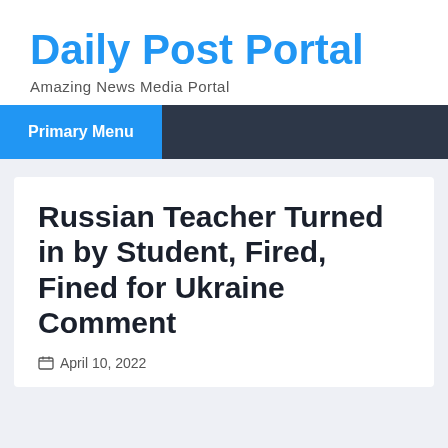Daily Post Portal
Amazing News Media Portal
Primary Menu
Russian Teacher Turned in by Student, Fired, Fined for Ukraine Comment
April 10, 2022